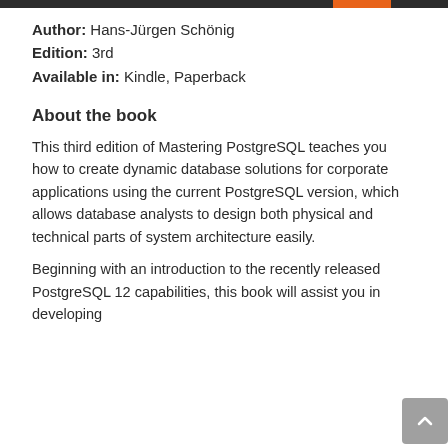Author: Hans-Jürgen Schönig
Edition: 3rd
Available in: Kindle, Paperback
About the book
This third edition of Mastering PostgreSQL teaches you how to create dynamic database solutions for corporate applications using the current PostgreSQL version, which allows database analysts to design both physical and technical parts of system architecture easily.
Beginning with an introduction to the recently released PostgreSQL 12 capabilities, this book will assist you in developing